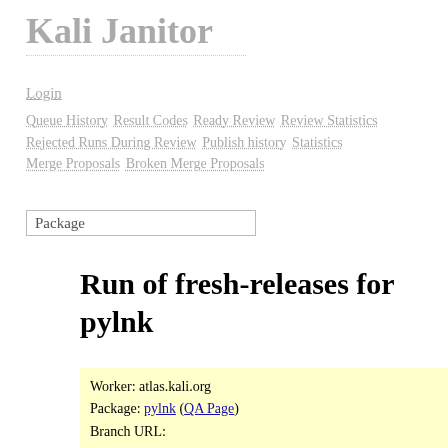Kali Janitor
Login
Queue History Result Codes Ready Review Review Statistics Rejected Runs During Review Publish history Statistics Merge Proposals Broken Merge Proposals
Package
Run of fresh-releases for pylnk
Worker: atlas.kali.org
Package: pylnk (QA Page)
Branch URL:
https://gitlab.com/kalilinux/packages/pylnk.gi
Upstream Branch URL: